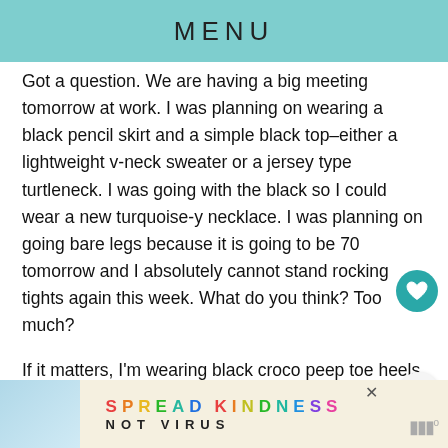MENU
Got a question. We are having a big meeting tomorrow at work. I was planning on wearing a black pencil skirt and a simple black top–either a lightweight v-neck sweater or a jersey type turtleneck. I was going with the black so I could wear a new turquoise-y necklace. I was planning on going bare legs because it is going to be 70 tomorrow and I absolutely cannot stand rocking tights again this week. What do you think? Too much?
If it matters, I'm wearing black croco peep toe heels.
[Figure (infographic): SPREAD KINDNESS NOT VIRUS advertisement banner with colorful letters]
[Figure (logo): wm superscript logo in grey]